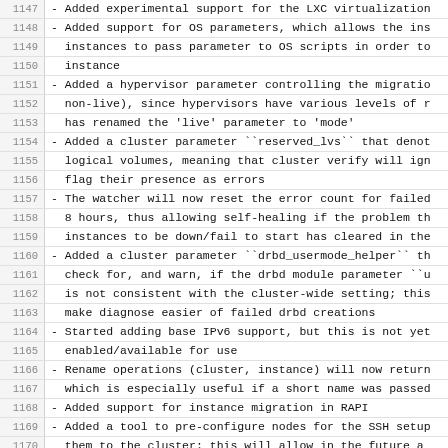1147 - Added experimental support for the LXC virtualization
1148 - Added support for OS parameters, which allows the ins
1149   instances to pass parameter to OS scripts in order to
1150   instance
1151 - Added a hypervisor parameter controlling the migratio
1152   non-live), since hypervisors have various levels of r
1153   has renamed the 'live' parameter to 'mode'
1154 - Added a cluster parameter ``reserved_lvs`` that denot
1155   logical volumes, meaning that cluster verify will ign
1156   flag their presence as errors
1157 - The watcher will now reset the error count for failed
1158   8 hours, thus allowing self-healing if the problem th
1159   instances to be down/fail to start has cleared in the
1160 - Added a cluster parameter ``drbd_usermode_helper`` th
1161   check for, and warn, if the drbd module parameter ``u
1162   is not consistent with the cluster-wide setting; this
1163   make diagnose easier of failed drbd creations
1164 - Started adding base IPv6 support, but this is not yet
1165   enabled/available for use
1166 - Rename operations (cluster, instance) will now return
1167   which is especially useful if a short name was passed
1168 - Added support for instance migration in RAPI
1169 - Added a tool to pre-configure nodes for the SSH setup
1170   them to the cluster; this will allow in the future a
1171   for node joining (but not yet fully enabled in 2.2);